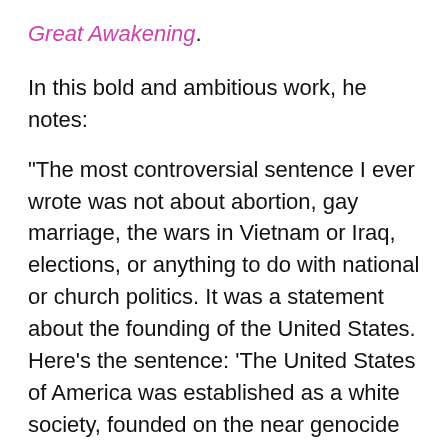Great Awakening.
In this bold and ambitious work, he notes:
"The most controversial sentence I ever wrote was not about abortion, gay marriage, the wars in Vietnam or Iraq, elections, or anything to do with national or church politics. It was a statement about the founding of the United States. Here's the sentence: 'The United States of America was established as a white society, founded on the near genocide of another race and then the enslavement of yet another.' "
Wallis wants Americans to confess their racism and repent. Easier said than done as exemplified by the variety of defensive responses he received to the